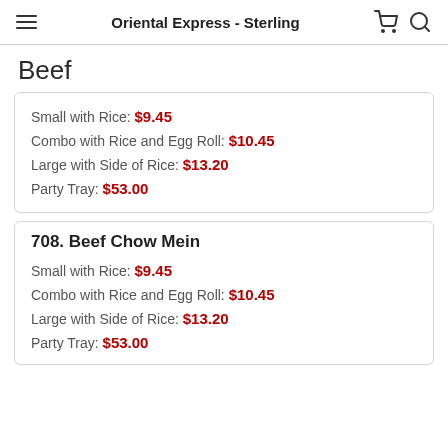Oriental Express - Sterling
Beef
Small with Rice: $9.45
Combo with Rice and Egg Roll: $10.45
Large with Side of Rice: $13.20
Party Tray: $53.00
708. Beef Chow Mein
Small with Rice: $9.45
Combo with Rice and Egg Roll: $10.45
Large with Side of Rice: $13.20
Party Tray: $53.00